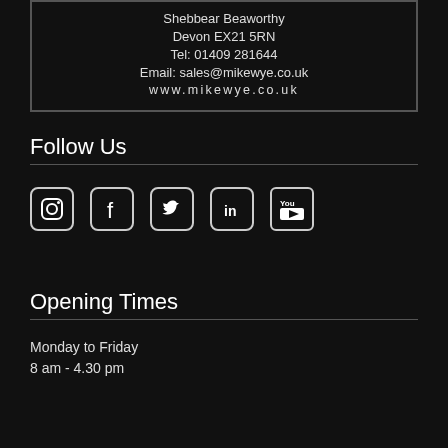Shebbear Beaworthy
Devon EX21 5RN
Tel: 01409 281644
Email: sales@mikewye.co.uk
www.mikewye.co.uk
Follow Us
[Figure (infographic): Social media icons for Instagram, Facebook, Twitter, LinkedIn, and YouTube]
Opening Times
Monday to Friday
8 am - 4.30 pm